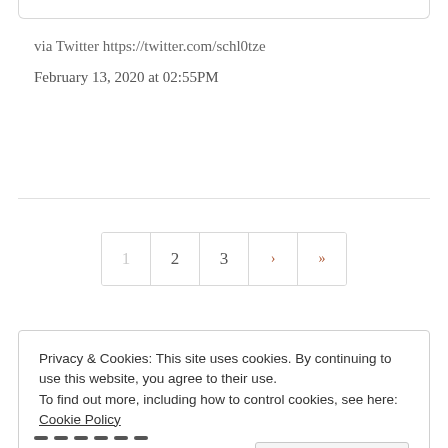via Twitter https://twitter.com/schl0tze
February 13, 2020 at 02:55PM
Pagination navigation: 1 2 3 › »
Privacy & Cookies: This site uses cookies. By continuing to use this website, you agree to their use.
To find out more, including how to control cookies, see here: Cookie Policy
Close and accept